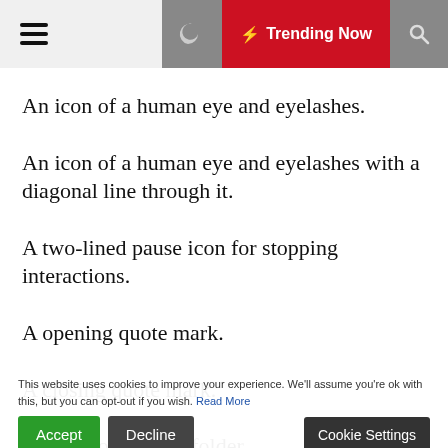Menu | Moon | Trending Now | Search
An icon of a human eye and eyelashes.
An icon of a human eye and eyelashes with a diagonal line through it.
A two-lined pause icon for stopping interactions.
A opening quote mark.
A closing quote mark.
An icon of a paper folder.
An icon of a paper folder.
This website uses cookies to improve your experience. We’ll assume you’re ok with this, but you can opt-out if you wish. Read More
An icon of a digital camera.
An icon of a caret arrow.